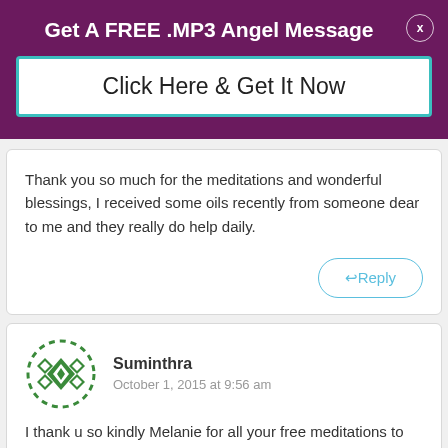Get A FREE .MP3 Angel Message
Click Here & Get It Now
Thank you so much for the meditations and wonderful blessings, I received some oils recently from someone dear to me and they really do help daily.
↩Reply
[Figure (illustration): Green dashed circular avatar icon with diamond/cross pattern for user Suminthra]
Suminthra
October 1, 2015 at 9:56 am
I thank u so kindly Melanie for all your free meditations to